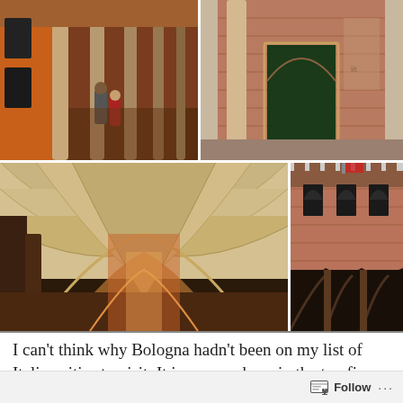[Figure (photo): Collage of four photographs showing Bologna, Italy. Top-left: people walking under a covered arcade (portico) with orange walls and columns. Top-right: a courtyard or alley with brick columns and a large arched green door on a brick wall with faded frescoes. Bottom-left: view looking down a long vaulted portico with ribbed arched ceiling in cream/tan tones, brick floor, classical columns receding into distance. Bottom-right: facade of a Gothic-style brick palace with pointed arches, Gothic windows, and ornate decorative stonework at the top.]
I can't think why Bologna hadn't been on my list of Italian cities to visit. It is now perhaps in the top five of my
Follow ···